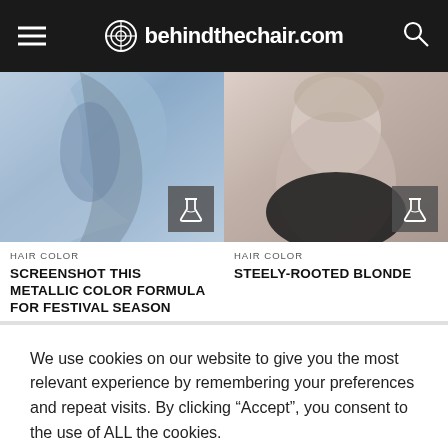behindthechair.com
[Figure (photo): Photo of woman with blue/silver metallic wavy hair color]
[Figure (photo): Photo of woman with steely-rooted blonde short hair]
HAIR COLOR
SCREENSHOT THIS METALLIC COLOR FORMULA FOR FESTIVAL SEASON
HAIR COLOR
STEELY-ROOTED BLONDE
We use cookies on our website to give you the most relevant experience by remembering your preferences and repeat visits. By clicking “Accept”, you consent to the use of ALL the cookies.
Do not sell my personal information.